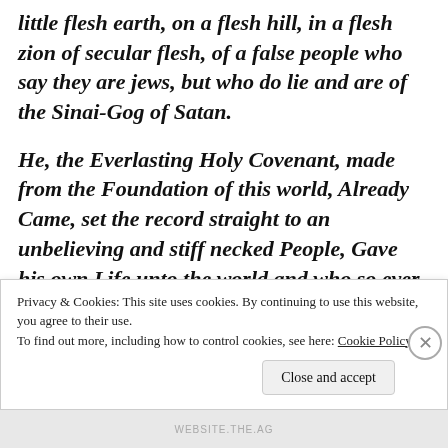little flesh earth, on a flesh hill, in a flesh zion of secular flesh, of a false people who say they are jews, but who do lie and are of the Sinai-Gog of Satan.
He, the Everlasting Holy Covenant, made from the Foundation of this world, Already Came, set the record straight to an unbelieving and stiff necked People, Gave his own Life unto the world and who so ever believed, Has everlasting Life. Jesus was crucified by the anti-God
Privacy & Cookies: This site uses cookies. By continuing to use this website, you agree to their use.
To find out more, including how to control cookies, see here: Cookie Policy
WEBSITE.THE.AG